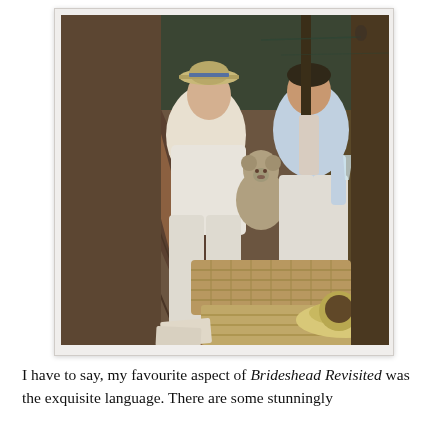[Figure (photo): Two young men sitting in a wooden punt boat on a river. One wears a straw boater hat and holds a large teddy bear; the other wears a light blue shirt and holds a cigarette. A wooden oar and wicker picnic baskets are visible in the boat. A straw hat lies in the foreground. Scene appears to be from a period film adaptation.]
I have to say, my favourite aspect of Brideshead Revisited was the exquisite language. There are some stunningly beautiful passages, and some distinctl...